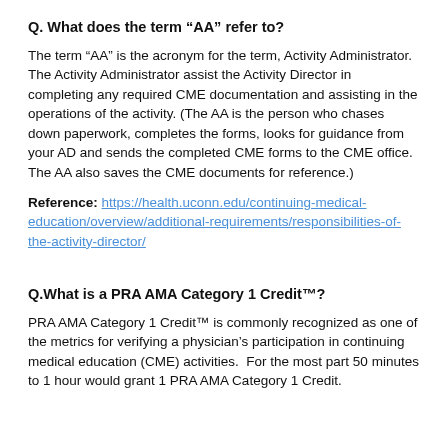Q. What does the term “AA” refer to?
The term “AA” is the acronym for the term, Activity Administrator. The Activity Administrator assist the Activity Director in completing any required CME documentation and assisting in the operations of the activity. (The AA is the person who chases down paperwork, completes the forms, looks for guidance from your AD and sends the completed CME forms to the CME office.  The AA also saves the CME documents for reference.)
Reference: https://health.uconn.edu/continuing-medical-education/overview/additional-requirements/responsibilities-of-the-activity-director/
Q.What is a PRA AMA Category 1 Credit™?
PRA AMA Category 1 Credit™ is commonly recognized as one of the metrics for verifying a physician’s participation in continuing medical education (CME) activities.  For the most part 50 minutes to 1 hour would grant 1 PRA AMA Category 1 Credit.